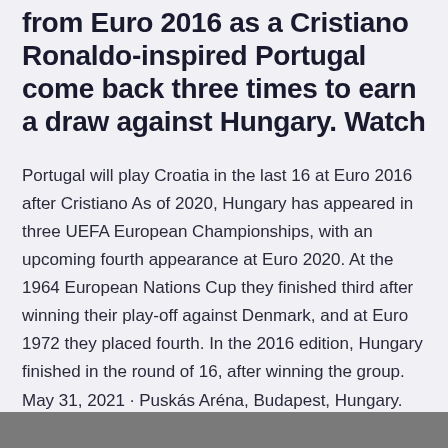from Euro 2016 as a Cristiano Ronaldo-inspired Portugal come back three times to earn a draw against Hungary. Watch
Portugal will play Croatia in the last 16 at Euro 2016 after Cristiano As of 2020, Hungary has appeared in three UEFA European Championships, with an upcoming fourth appearance at Euro 2020. At the 1964 European Nations Cup they finished third after winning their play-off against Denmark, and at Euro 1972 they placed fourth. In the 2016 edition, Hungary finished in the round of 16, after winning the group. May 31, 2021 · Puskás Aréna, Budapest, Hungary.
[Figure (photo): Partial image strip at the bottom of the page, cropped photograph]